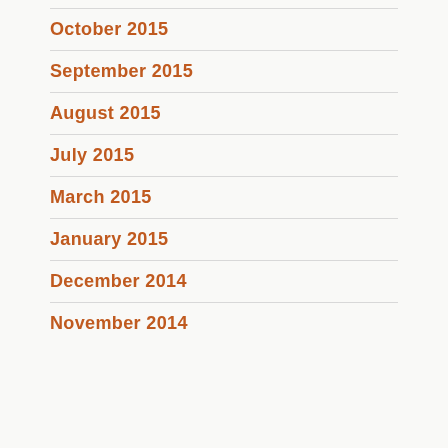October 2015
September 2015
August 2015
July 2015
March 2015
January 2015
December 2014
November 2014